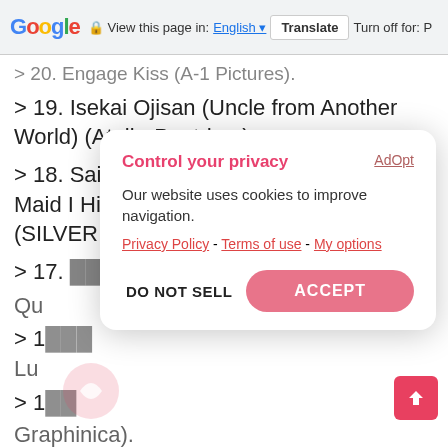Google  View this page in: English  Translate  Turn off for: P
> 20. Engage Kiss (A-1 Pictures).
> 19. Isekai Ojisan (Uncle from Another World) (AtelierPontdarc).
> 18. Saikin Yatotta Maid ga Ayashii (The Maid I Hired Recently Is Mysterious) (SILVER LINK, Blade).
> 17. [partially obscured]
> 1[partially obscured] Lu[partially obscured]
> 1[partially obscured] Graphinica).
> 14. Jashin-chan Dropkick X (Dropkick On My Devil!! 3rd Season) (Nomad).
> 13. [partially obscured]
Control your privacy
AdOpt
Our website uses cookies to improve navigation.
Privacy Policy - Terms of use - My options
DO NOT SELL    ACCEPT